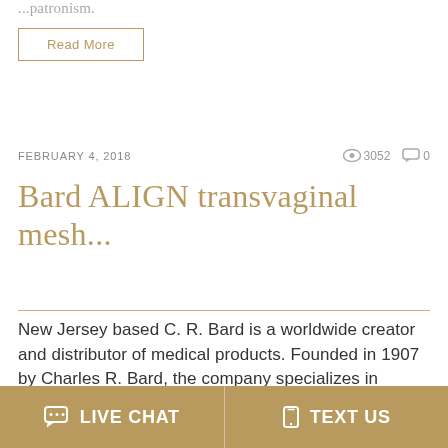... patronism.
Read More
FEBRUARY 4, 2018    👁 3052    💬 0
Bard ALIGN transvaginal mesh...
New Jersey based C. R. Bard is a worldwide creator and distributor of medical products. Founded in 1907 by Charles R. Bard, the company specializes in creating surgical,
LIVE CHAT    TEXT US